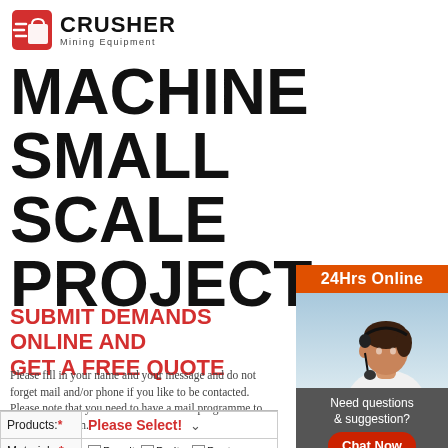[Figure (logo): Crusher Mining Equipment logo with red shopping bag icon and bold CRUSHER text]
MACHINE SMALL SCALE PROJECT
SUBMIT DEMANDS ONLINE AND GET A FREE QUOTE
Please fill in your name and your message and do not forget mail and/or phone if you like to be contacted. Please note that you need to have a mail programme to use this function.
| Field | Value |
| --- | --- |
| Products:* | Please Select! |
| Materials:* | Basalt, Barite, Bentolite, Calcite, Coal, Copper, Dolomite, Feldspar |
[Figure (photo): Customer service representative woman wearing headset, 24Hrs Online badge]
Need questions & suggestion?
Chat Now
Enquiry
limingjlmofen@sina.com